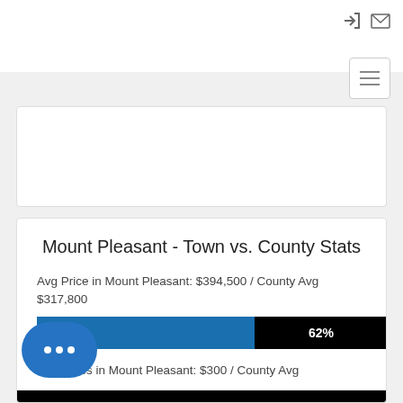[Figure (screenshot): Navigation bar with login icon, mail icon, and hamburger menu button]
Mount Pleasant - Town vs. County Stats
Avg Price in Mount Pleasant: $394,500 / County Avg $317,800
[Figure (bar-chart): Avg Price comparison]
Avg Taxes in Mount Pleasant: $300 / County Avg